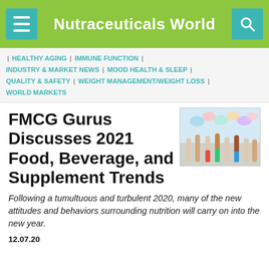Nutraceuticals World
| HEALTHY AGING | IMMUNE FUNCTION | INDUSTRY & MARKET NEWS | MOOD HEALTH & SLEEP | QUALITY & SAFETY | WEIGHT MANAGEMENT/WEIGHT LOSS | WORLD MARKETS
[Figure (photo): Hands raised holding colorful speech bubbles]
FMCG Gurus Discusses 2021 Food, Beverage, and Supplement Trends
Following a tumultuous and turbulent 2020, many of the new attitudes and behaviors surrounding nutrition will carry on into the new year.
12.07.20